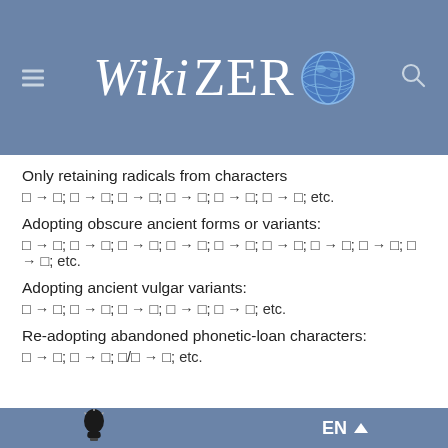WikiZero
Only retaining radicals from characters
□ → □; □ → □; □ → □; □ → □; □ → □; □ → □; etc.
Adopting obscure ancient forms or variants:
□ → □; □ → □; □ → □; □ → □; □ → □; □ → □; □ → □; □ → □; □ → □; etc.
Adopting ancient vulgar variants:
□ → □; □ → □; □ → □; □ → □; □ → □; etc.
Re-adopting abandoned phonetic-loan characters:
□ → □; □ → □; □/□ → □; etc.
EN ▲